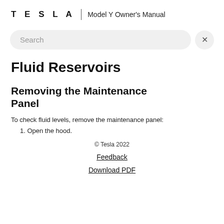TESLA | Model Y Owner's Manual
[Figure (other): Search bar with X close button]
Fluid Reservoirs
Removing the Maintenance Panel
To check fluid levels, remove the maintenance panel:
1. Open the hood.
© Tesla 2022
Feedback
Download PDF